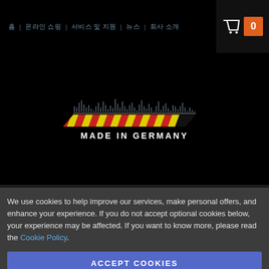홈 | 온라인 쇼핑 | 서비스 및 지원 | 뉴스 | 회사 소개
[Figure (logo): Made in Germany brand logo with audio waveform graphic and diagonal striped German flag colors, text MADE IN GERMANY]
We use cookies to help improve our services, make personal offers, and enhance your experience. If you do not accept optional cookies below, your experience may be affected. If you want to know more, please read the Cookie Policy.
ACCEPT COOKIES
CUSTOM SETTINGS